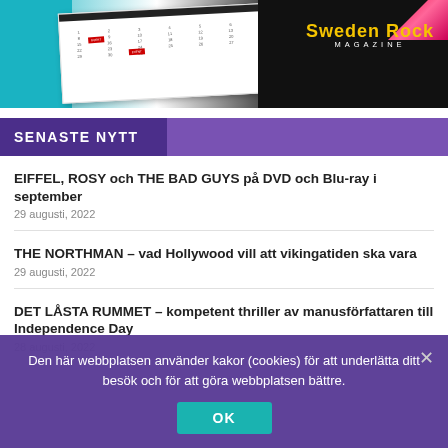[Figure (screenshot): Banner image with calendar on teal background and Sweden Rock Magazine logo on dark background]
SENASTE NYTT
EIFFEL, ROSY och THE BAD GUYS på DVD och Blu-ray i september
29 augusti, 2022
THE NORTHMAN – vad Hollywood vill att vikingatiden ska vara
29 augusti, 2022
DET LÅSTA RUMMET – kompetent thriller av manusförfattaren till Independence Day
28 augusti, 2022
Den här webbplatsen använder kakor (cookies) för att underlätta ditt besök och för att göra webbplatsen bättre.